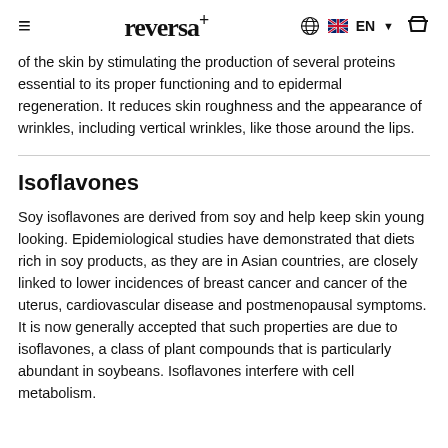reversa+ EN
of the skin by stimulating the production of several proteins essential to its proper functioning and to epidermal regeneration. It reduces skin roughness and the appearance of wrinkles, including vertical wrinkles, like those around the lips.
Isoflavones
Soy isoflavones are derived from soy and help keep skin young looking. Epidemiological studies have demonstrated that diets rich in soy products, as they are in Asian countries, are closely linked to lower incidences of breast cancer and cancer of the uterus, cardiovascular disease and postmenopausal symptoms. It is now generally accepted that such properties are due to isoflavones, a class of plant compounds that is particularly abundant in soybeans. Isoflavones interfere with cell metabolism. In the skin, they also concentrate into the production of the